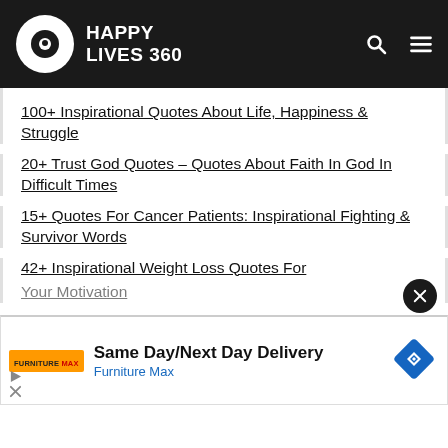HAPPY LIVES 360
100+ Inspirational Quotes About Life, Happiness & Struggle
20+ Trust God Quotes – Quotes About Faith In God In Difficult Times
15+ Quotes For Cancer Patients: Inspirational Fighting & Survivor Words
42+ Inspirational Weight Loss Quotes For Your Motivation
[Figure (screenshot): Advertisement banner for Furniture Max: Same Day/Next Day Delivery with Furniture Max logo and navigation icon]